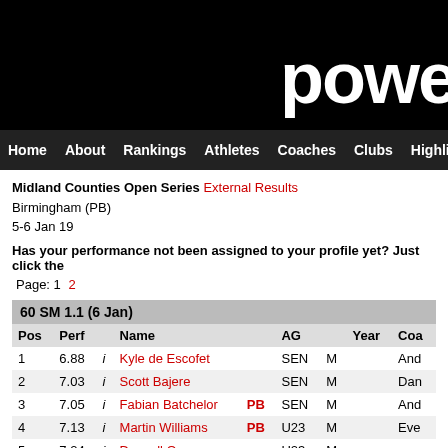powe
Home  About  Rankings  Athletes  Coaches  Clubs  Highlights
Midland Counties Open Series External Results
Birmingham (PB)
5-6 Jan 19
Has your performance not been assigned to your profile yet? Just click the
Page: 1 2
60 SM 1.1 (6 Jan)
| Pos | Perf |  | Name |  | AG |  | Year | Coa |
| --- | --- | --- | --- | --- | --- | --- | --- | --- |
| 1 | 6.88 | i | Kyle de Escofet |  | SEN | M |  | And |
| 2 | 7.03 | i | Scott Bajere |  | SEN | M |  | Dan |
| 3 | 7.05 | i | Fabian Batchelor | PB | SEN | M |  | And |
| 4 | 7.13 | i | Martin Williams | PB | U23 | M |  | Eve |
| 5 | 7.24 | i | Denzell Owusu |  | U23 | M |  |  |
| 6 | 7.48 | i | Alex Parkinson |  | U23 | M |  | Rich |